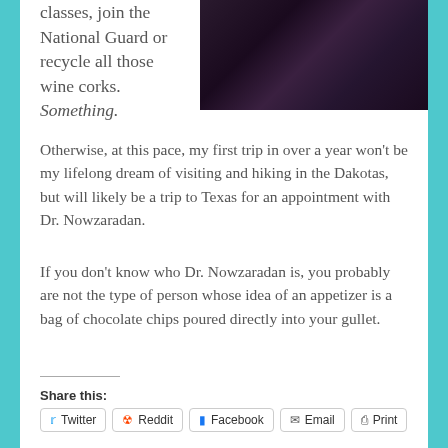[Figure (photo): Dark photograph, appears to show hands or objects in dim lighting with purple/dark tones]
classes, join the National Guard or recycle all those wine corks. Something.
Otherwise, at this pace, my first trip in over a year won't be my lifelong dream of visiting and hiking in the Dakotas, but will likely be a trip to Texas for an appointment with Dr. Nowzaradan.
If you don't know who Dr. Nowzaradan is, you probably are not the type of person whose idea of an appetizer is a bag of chocolate chips poured directly into your gullet.
Share this:
Twitter
Reddit
Facebook
Email
Print